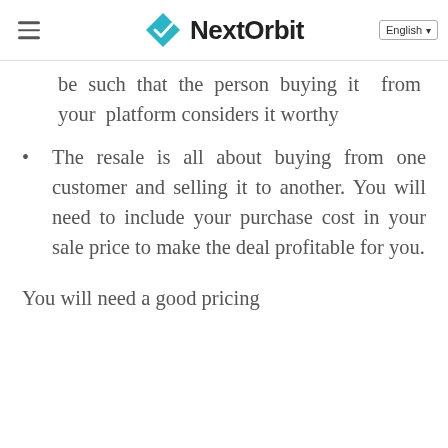NextOrbit
be such that the person buying it from your platform considers it worthy
The resale is all about buying from one customer and selling it to another. You will need to include your purchase cost in your sale price to make the deal profitable for you.
You will need a good pricing